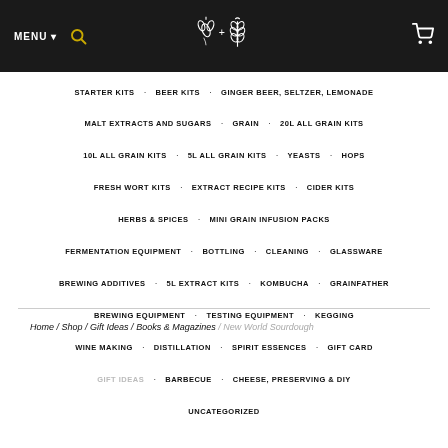MENU ▾ [search icon] [logo: hop + wheat icon] [cart icon]
STARTER KITS
BEER KITS
GINGER BEER, SELTZER, LEMONADE
MALT EXTRACTS AND SUGARS
GRAIN
20L ALL GRAIN KITS
10L ALL GRAIN KITS
5L ALL GRAIN KITS
YEASTS
HOPS
FRESH WORT KITS
EXTRACT RECIPE KITS
CIDER KITS
HERBS & SPICES
MINI GRAIN INFUSION PACKS
FERMENTATION EQUIPMENT
BOTTLING
CLEANING
GLASSWARE
BREWING ADDITIVES
5L EXTRACT KITS
KOMBUCHA
GRAINFATHER
BREWING EQUIPMENT
TESTING EQUIPMENT
KEGGING
WINE MAKING
DISTILLATION
SPIRIT ESSENCES
GIFT CARD
GIFT IDEAS
BARBECUE
CHEESE, PRESERVING & DIY
UNCATEGORIZED
Home / Shop / Gift Ideas / Books & Magazines / New World Sourdough